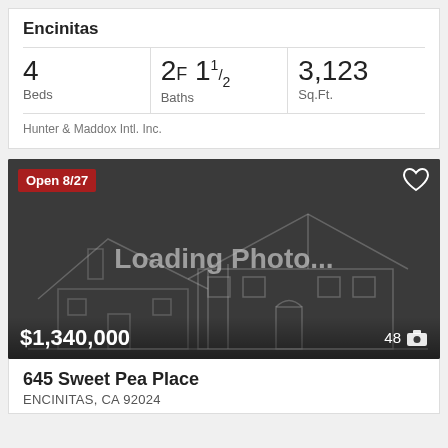Encinitas
| Beds | Baths | Sq.Ft. |
| --- | --- | --- |
| 4 | 2F 11/2 | 3,123 |
Hunter & Maddox Intl. Inc.
[Figure (photo): Loading Photo... placeholder image of a house outline on dark gray background, with Open 8/27 badge top-left, heart icon top-right, $1,340,000 price bottom-left, and 48 camera icon bottom-right]
645 Sweet Pea Place
ENCINITAS, CA 92024